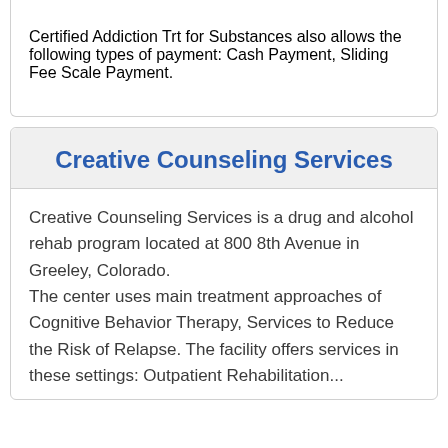Certified Addiction Trt for Substances also allows the following types of payment: Cash Payment, Sliding Fee Scale Payment.
Creative Counseling Services
Creative Counseling Services is a drug and alcohol rehab program located at 800 8th Avenue in Greeley, Colorado.
The center uses main treatment approaches of Cognitive Behavior Therapy, Services to Reduce the Risk of Relapse. The facility offers services in these settings: Outpatient Rehabilitation...